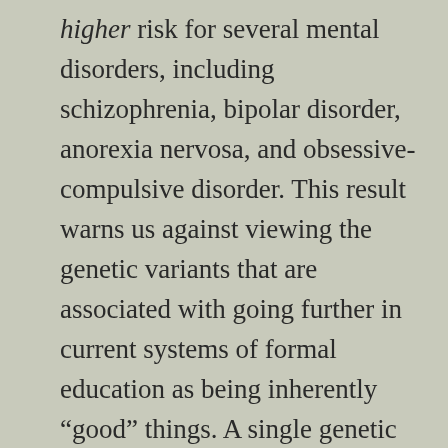higher risk for several mental disorders, including schizophrenia, bipolar disorder, anorexia nervosa, and obsessive-compulsive disorder. This result warns us against viewing the genetic variants that are associated with going further in current systems of formal education as being inherently “good” things. A single genetic variant might make it a tiny bit more likely that someone will go further in school, but that same variant might also elevate their risk of developing schizophrenia or another serious mental disorder." (page